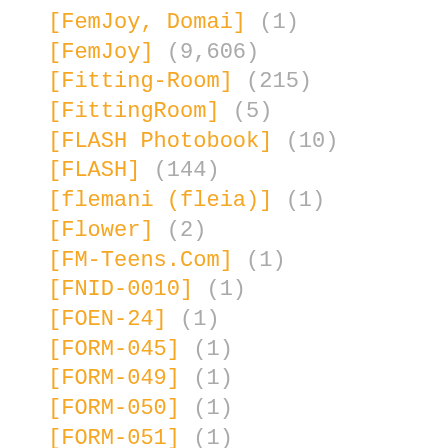[FemJoy, Domai] (1)
[FemJoy] (9,606)
[Fitting-Room] (215)
[FittingRoom] (5)
[FLASH Photobook] (10)
[FLASH] (144)
[flemani (fleia)] (1)
[Flower] (2)
[FM-Teens.Com] (1)
[FNID-0010] (1)
[FOEN-24] (1)
[FORM-045] (1)
[FORM-049] (1)
[FORM-050] (1)
[FORM-051] (1)